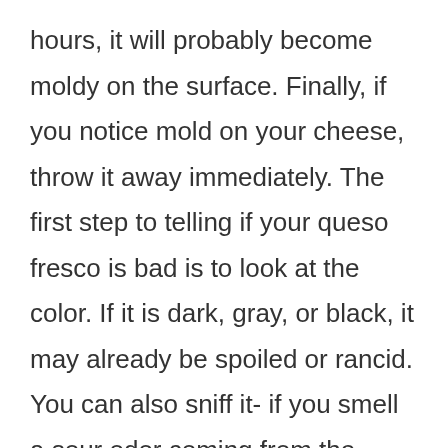hours, it will probably become moldy on the surface. Finally, if you notice mold on your cheese, throw it away immediately. The first step to telling if your queso fresco is bad is to look at the color. If it is dark, gray, or black, it may already be spoiled or rancid. You can also sniff it- if you smell a sour odor coming from the cheese, it's probably gone bad. The next way to tell if your queso fresco is bad is by tasting and smelling it. If you have